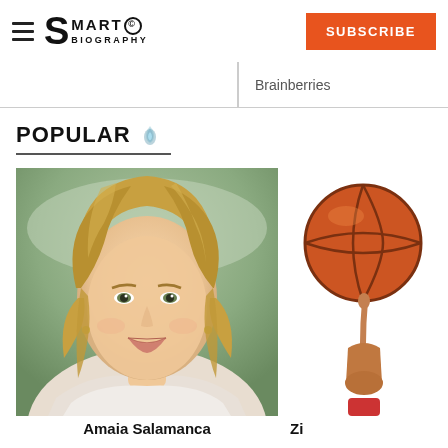SMARTO BIOGRAPHY | SUBSCRIBE
Brainberries
POPULAR 🔥
[Figure (photo): Portrait photo of Amaia Salamanca, a blonde woman smiling, photographed outdoors]
[Figure (photo): Person spinning a basketball on one finger against a white background]
Amaia Salamanca
Zi